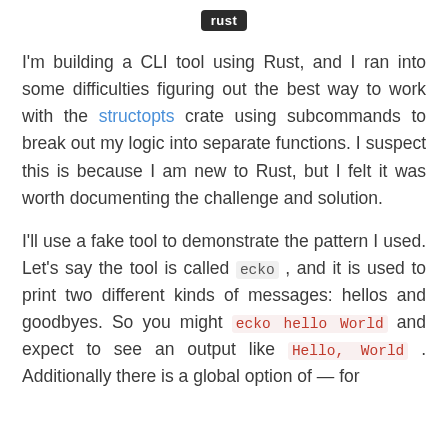rust
I'm building a CLI tool using Rust, and I ran into some difficulties figuring out the best way to work with the structopts crate using subcommands to break out my logic into separate functions. I suspect this is because I am new to Rust, but I felt it was worth documenting the challenge and solution.
I'll use a fake tool to demonstrate the pattern I used. Let's say the tool is called ecko , and it is used to print two different kinds of messages: hellos and goodbyes. So you might ecko hello World and expect to see an output like Hello, World . Additionally there is a global option of — for